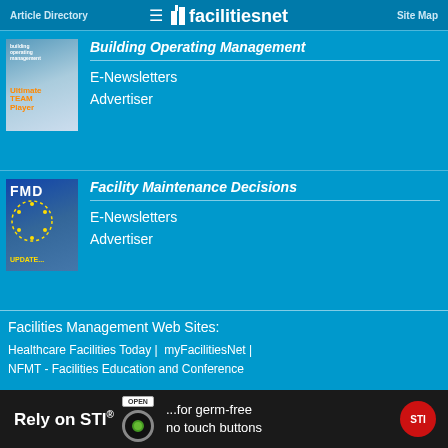Article Directory | facilitiesnet | Site Map
Building Operating Management
E-Newsletters
Advertiser
Facility Maintenance Decisions
E-Newsletters
Advertiser
Facilities Management Web Sites:
Healthcare Facilities Today | myFacilitiesNet | NFMT - Facilities Education and Conference
©1995-2022 TradePress - B2B Media Company
[Figure (screenshot): Ad banner: Rely on STI® - for germ-free no touch buttons, with STI logo badge]